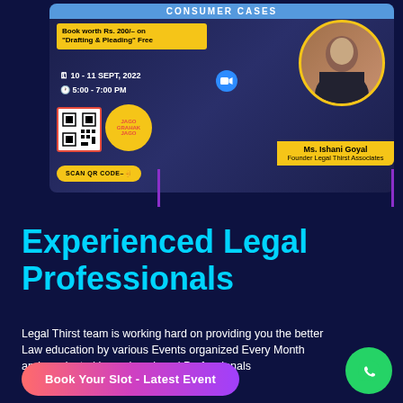[Figure (infographic): Event banner for Consumer Cases webinar by Jago Grahak Jago, featuring Ms. Ishani Goyal, Founder Legal Thirst Associates. Date: 10-11 Sept, 2022, 5:00-7:00 PM. Includes QR code, Jago Grahak Jago logo, scan QR code button, free book offer on Drafting & Pleading.]
Experienced Legal Professionals
Legal Thirst team is working hard on providing you the better Law education by various Events organized Every Month and conducted by various Legal Professionals
Book Your Slot - Latest Event